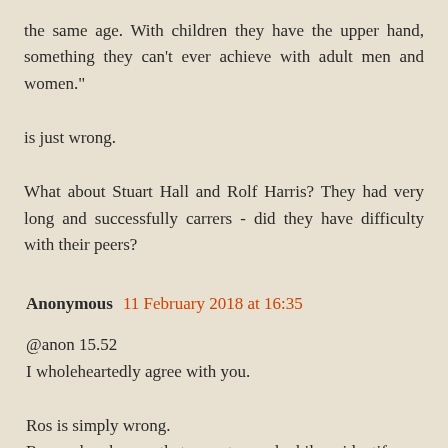the same age. With children they have the upper hand, something they can't ever achieve with adult men and women."
is just wrong.
What about Stuart Hall and Rolf Harris? They had very long and successfully carrers - did they have difficulty with their peers?
Anonymous 11 February 2018 at 16:35
@anon 15.52
I wholeheartedly agree with you.
Ros is simply wrong.
Research shows that most paedophiles identify as heterosexual males, most are married or in relationships with adult women.
They exist in every strata of society, in every profession.